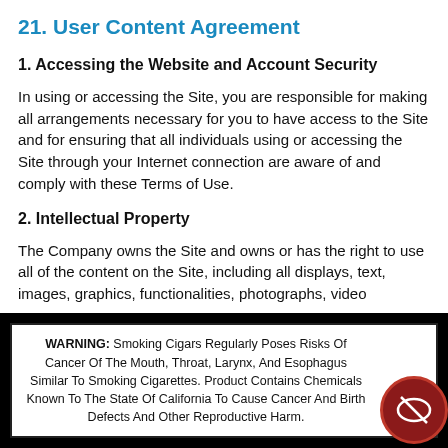21. User Content Agreement
1. Accessing the Website and Account Security
In using or accessing the Site, you are responsible for making all arrangements necessary for you to have access to the Site and for ensuring that all individuals using or accessing the Site through your Internet connection are aware of and comply with these Terms of Use.
2. Intellectual Property
The Company owns the Site and owns or has the right to use all of the content on the Site, including all displays, text, images, graphics, functionalities, photographs, video
WARNING: Smoking Cigars Regularly Poses Risks Of Cancer Of The Mouth, Throat, Larynx, And Esophagus Similar To Smoking Cigarettes. Product Contains Chemicals Known To The State Of California To Cause Cancer And Birth Defects And Other Reproductive Harm.